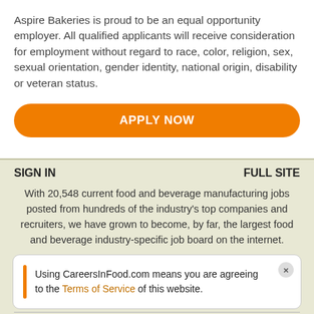Aspire Bakeries is proud to be an equal opportunity employer. All qualified applicants will receive consideration for employment without regard to race, color, religion, sex, sexual orientation, gender identity, national origin, disability or veteran status.
[Figure (other): Orange rounded button labeled APPLY NOW]
SIGN IN | FULL SITE
With 20,548 current food and beverage manufacturing jobs posted from hundreds of the industry's top companies and recruiters, we have grown to become, by far, the largest food and beverage industry-specific job board on the internet.
Using CareersInFood.com means you are agreeing to the Terms of Service of this website.
looking to spread your wings in a career in maintenance, marketing